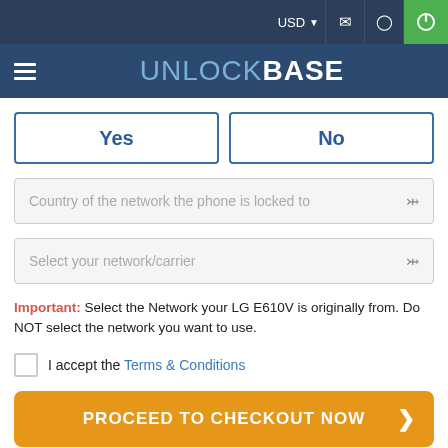USD | [mail icon] | [location icon] | [power icon]
UNLOCKBASE
Yes | No
Country of the network the phone is locked to
Select your network/carrier
Important: Select the Network your LG E610V is originally from. Do NOT select the network you want to use.
I accept the Terms & Conditions
PROCEED TO CHECKOUT NOW